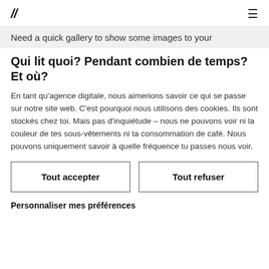// ≡
Need a quick gallery to show some images to your
Qui lit quoi? Pendant combien de temps? Et où?
En tant qu'agence digitale, nous aimerions savoir ce qui se passe sur notre site web. C'est pourquoi nous utilisons des cookies. Ils sont stockés chez toi. Mais pas d'inquiétude – nous ne pouvons voir ni la couleur de tes sous-vêtements ni ta consommation de café. Nous pouvons uniquement savoir à quelle fréquence tu passes nous voir.
Tout accepter
Tout refuser
Personnaliser mes préférences